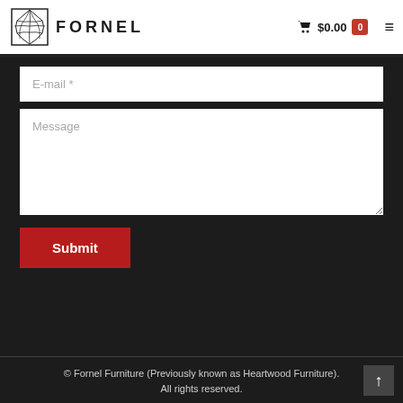FORNEL $0.00 0
E-mail *
Message
Submit
© Fornel Furniture (Previously known as Heartwood Furniture). All rights reserved.